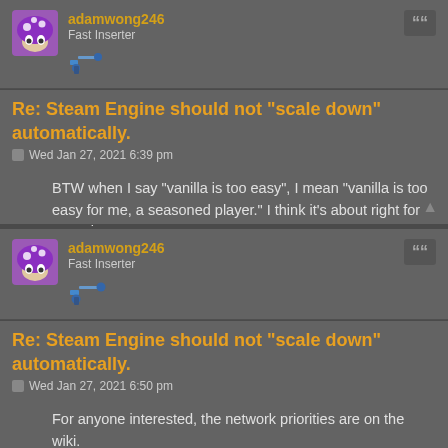adamwong246
Fast Inserter
Re: Steam Engine should not "scale down" automatically.
Wed Jan 27, 2021 6:39 pm
BTW when I say "vanilla is too easy", I mean "vanilla is too easy for me, a seasoned player." I think it's about right for new players.
adamwong246
Fast Inserter
Re: Steam Engine should not "scale down" automatically.
Wed Jan 27, 2021 6:50 pm
For anyone interested, the network priorities are on the wiki.
Electricity is provided on a priority basis. The demand